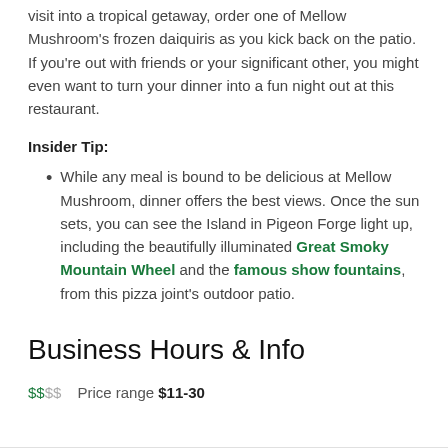visit into a tropical getaway, order one of Mellow Mushroom's frozen daiquiris as you kick back on the patio. If you're out with friends or your significant other, you might even want to turn your dinner into a fun night out at this restaurant.
Insider Tip:
While any meal is bound to be delicious at Mellow Mushroom, dinner offers the best views. Once the sun sets, you can see the Island in Pigeon Forge light up, including the beautifully illuminated Great Smoky Mountain Wheel and the famous show fountains, from this pizza joint's outdoor patio.
Business Hours & Info
$$SS  Price range $11-30